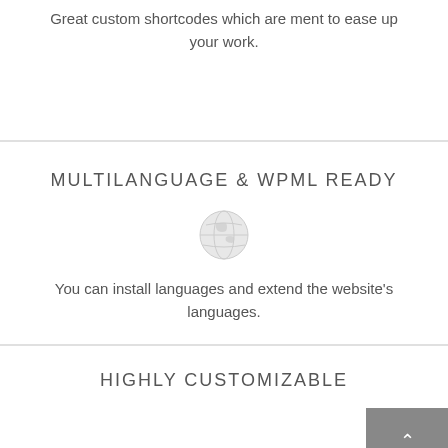Great custom shortcodes which are ment to ease up your work.
MULTILANGUAGE & WPML READY
[Figure (illustration): Globe/world icon in light gray]
You can install languages and extend the website's languages.
HIGHLY CUSTOMIZABLE